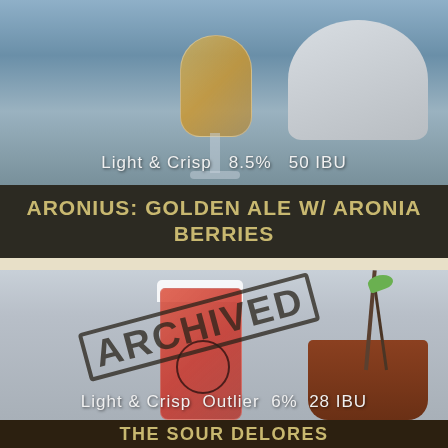[Figure (photo): Beer glass with amber/golden beer and a bowl in the background, grey-blue toned photo]
Light & Crisp   8.5%   50 IBU
ARONIUS: GOLDEN ALE W/ ARONIA BERRIES
[Figure (photo): Dangerous Man Brewing Co. branded glass with red/pink beer, plant with stems in background, ARCHIVED stamp overlay]
Light & Crisp   Outlier   6%   28 IBU
THE SOUR DELORES